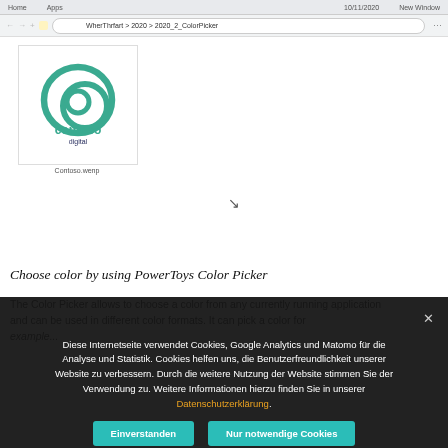Browser navigation bar with address: WherThrfart > 2020 > 2020_2_ColorPicker
[Figure (logo): Contoso Digital logo — teal spiral/swirl icon above text 'contoso digital' in teal and dark blue]
Contoso.wenp
Choose color by using PowerToys Color Picker
The Color Picker allows to choose a color from any currently running application and can be used in different color formats. It can pick a color for example...
Diese Internetseite verwendet Cookies, Google Analytics und Matomo für die Analyse und Statistik. Cookies helfen uns, die Benutzerfreundlichkeit unserer Website zu verbessern. Durch die weitere Nutzung der Website stimmen Sie der Verwendung zu. Weitere Informationen hierzu finden Sie in unserer Datenschutzerklärung.
Einverstanden | Nur notwendige Cookies